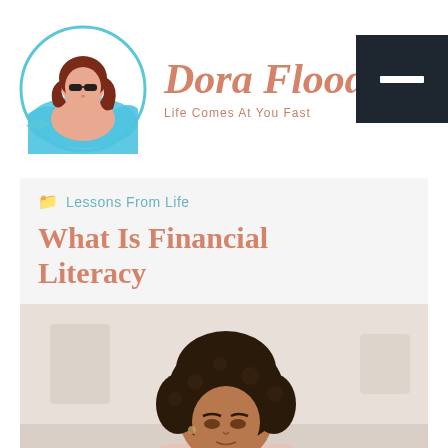[Figure (logo): Circular logo with illustrated woman wearing sunglasses with dark curly red hair, surrounded by blue wave circle border]
Dora Flood
Life Comes At You Fast
[Figure (other): Dark navy/black square button with white horizontal bar (hamburger menu icon)]
Lessons From Life
What Is Financial Literacy
[Figure (photo): Photo of a young Black woman with natural curly hair, wearing a light pink hoodie, looking down and writing or studying, kitchen background]